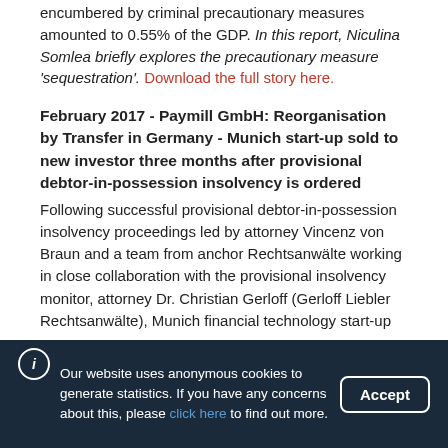encumbered by criminal precautionary measures amounted to 0.55% of the GDP. In this report, Niculina Somlea briefly explores the precautionary measure 'sequestration'. Download the full story here.
February 2017 - Paymill GmbH: Reorganisation by Transfer in Germany - Munich start-up sold to new investor three months after provisional debtor-in-possession insolvency is ordered
Following successful provisional debtor-in-possession insolvency proceedings led by attorney Vincenz von Braun and a team from anchor Rechtsanwälte working in close collaboration with the provisional insolvency monitor, attorney Dr. Christian Gerloff (Gerloff Liebler Rechtsanwälte), Munich financial technology start-up
Our website uses anonymous cookies to generate statistics. If you have any concerns about this, please click here to find out more.